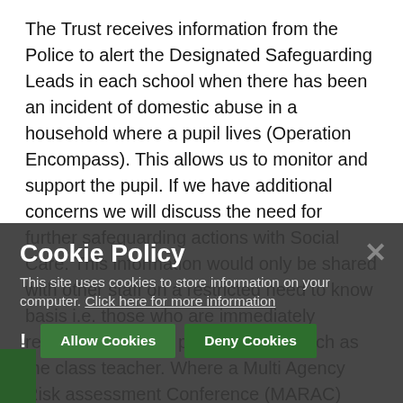The Trust receives information from the Police to alert the Designated Safeguarding Leads in each school when there has been an incident of domestic abuse in a household where a pupil lives (Operation Encompass). This allows us to monitor and support the pupil. If we have additional concerns we will discuss the need for further safeguarding actions with Social Care. This information would only be shared with other staff on a restricted need to know basis i.e. those who are immediately responsible for the pupil's welfare such as the class teacher. Where a Multi Agency Risk assessment Conference (MARAC) occurs the Trust may be asked for information and appropriate school related information may be shared...
[Figure (screenshot): Cookie Policy overlay banner with dark semi-transparent background. Title: 'Cookie Policy'. Body text: 'This site uses cookies to store information on your computer. Click here for more information'. Buttons: 'Allow Cookies' and 'Deny Cookies' (both green). Close X button top right. Exclamation mark and green bar bottom left.]